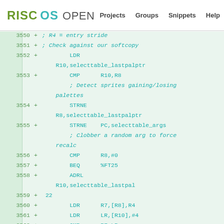RISC OS OPEN  Projects  Groups  Snippets  Help
3550 + ; R4 = entry stride
3551 + ; Check against our softcopy
3552 + LDR R10,selecttable_lastpalptr
3553 + CMP R10,R8
       ; Detect sprites gaining/losing palettes
3554 + STRNE R8,selecttable_lastpalptr
3555 + STRNE PC,selecttable_args
       ; Clobber a random arg to force recalc
3556 + CMP R8,#0
3557 + BEQ %FT25
3558 + ADRL R10,selecttable_lastpal
3559 + 22
3560 + LDR R7,[R8],R4
3561 + LDR LR,[R10],#4
3562 + CMP R7,LR